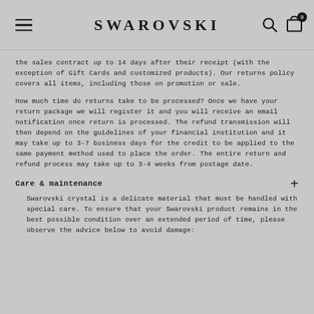SWAROVSKI
the sales contract up to 14 days after their receipt (with the exception of Gift Cards and customized products). Our returns policy covers all items, including those on promotion or sale.
How much time do returns take to be processed? Once we have your return package we will register it and you will receive an email notification once return is processed. The refund transmission will then depend on the guidelines of your financial institution and it may take up to 3-7 business days for the credit to be applied to the same payment method used to place the order. The entire return and refund process may take up to 3-4 weeks from postage date.
Care & maintenance
Swarovski crystal is a delicate material that must be handled with special care. To ensure that your Swarovski product remains in the best possible condition over an extended period of time, please observe the advice below to avoid damage: